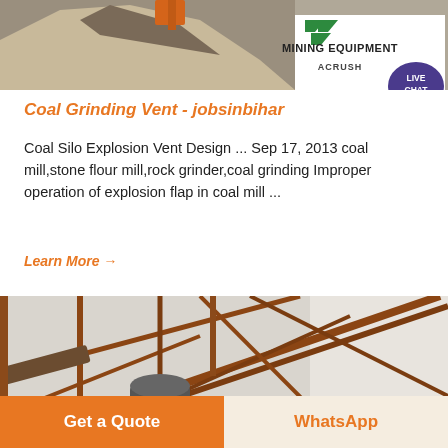[Figure (photo): Mining equipment banner image showing a crusher/mining site with text 'MINING EQUIPMENT ACRUSH' and green chevron logo on right side. A live chat bubble overlay is visible in the bottom-right corner.]
Coal Grinding Vent - jobsinbihar
Coal Silo Explosion Vent Design ... Sep 17, 2013 coal mill,stone flour mill,rock grinder,coal grinding Improper operation of explosion flap in coal mill ...
Learn More →
[Figure (photo): Industrial mining/crushing equipment photograph showing metal framework, conveyor structures, and crushing machinery under an open shed.]
Get a Quote
WhatsApp